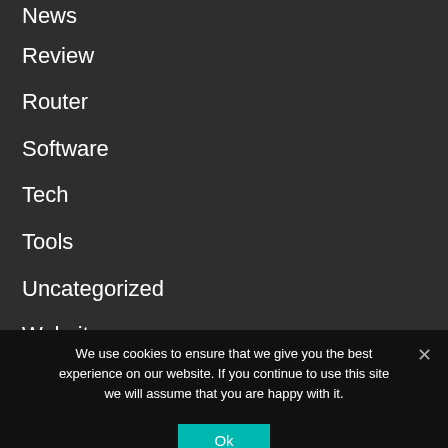News
Review
Router
Software
Tech
Tools
Uncategorized
Website
Windows
WordPress
We use cookies to ensure that we give you the best experience on our website. If you continue to use this site we will assume that you are happy with it.
Ok